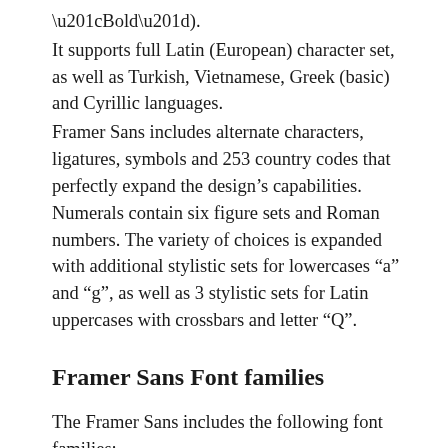“Bold”).
It supports full Latin (European) character set, as well as Turkish, Vietnamese, Greek (basic) and Cyrillic languages.
Framer Sans includes alternate characters, ligatures, symbols and 253 country codes that perfectly expand the design’s capabilities. Numerals contain six figure sets and Roman numbers. The variety of choices is expanded with additional stylistic sets for lowercases “a” and “g”, as well as 3 stylistic sets for Latin uppercases with crossbars and letter “Q”.
Framer Sans Font families
The Framer Sans includes the following font families: